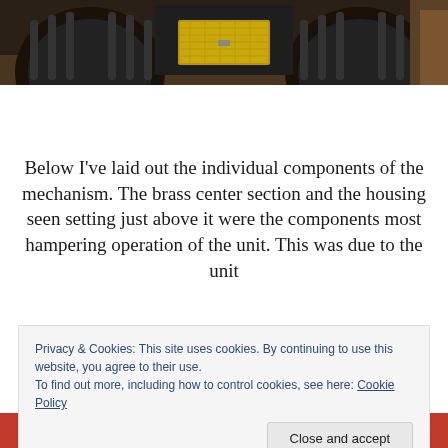[Figure (photo): Rear view of a large tractor with massive tires in muddy terrain, showing a metal toolbox mounted on the back.]
Below I've laid out the individual components of the mechanism. The brass center section and the housing seen setting just above it were the components most hampering operation of the unit. This was due to the unit
Privacy & Cookies: This site uses cookies. By continuing to use this website, you agree to their use.
To find out more, including how to control cookies, see here: Cookie Policy
Close and accept
[Figure (photo): Partial view of a person wearing a red garment, bottom of page.]